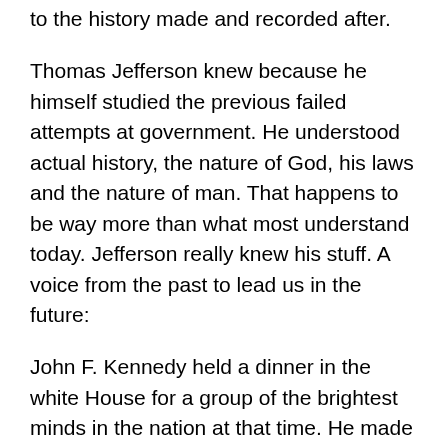to the history made and recorded after.
Thomas Jefferson knew because he himself studied the previous failed attempts at government. He understood actual history, the nature of God, his laws and the nature of man. That happens to be way more than what most understand today. Jefferson really knew his stuff. A voice from the past to lead us in the future:
John F. Kennedy held a dinner in the white House for a group of the brightest minds in the nation at that time. He made this statement: “This is perhaps the assembly of the most intelligence ever to gather at one time in the White House with the exception of when Thomas Jefferson dined alone.”